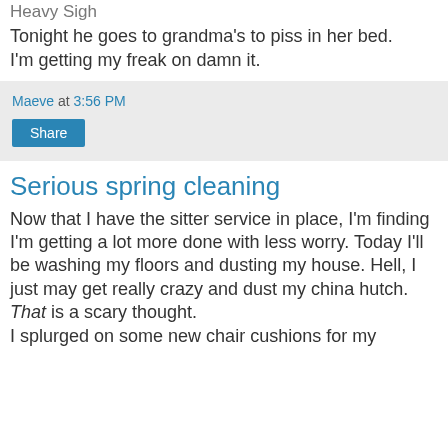Heavy Sigh
Tonight he goes to grandma's to piss in her bed.
I'm getting my freak on damn it.
Maeve at 3:56 PM
Share
Serious spring cleaning
Now that I have the sitter service in place, I'm finding I'm getting a lot more done with less worry. Today I'll be washing my floors and dusting my house. Hell, I just may get really crazy and dust my china hutch. That is a scary thought.
I splurged on some new chair cushions for my